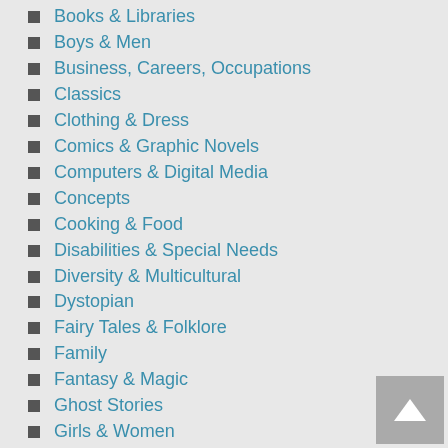Books & Libraries
Boys & Men
Business, Careers, Occupations
Classics
Clothing & Dress
Comics & Graphic Novels
Computers & Digital Media
Concepts
Cooking & Food
Disabilities & Special Needs
Diversity & Multicultural
Dystopian
Fairy Tales & Folklore
Family
Fantasy & Magic
Ghost Stories
Girls & Women
Health & Daily Living
Historical